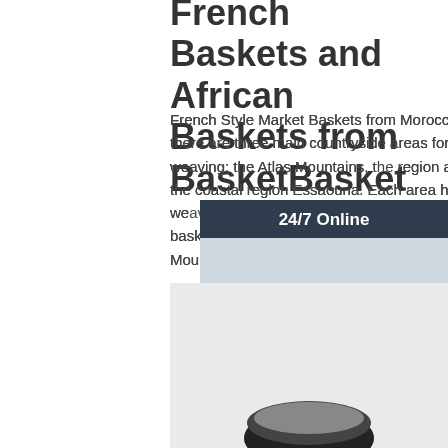French Baskets and African Baskets from BasketBasket
French Style Market Baskets from Morocco. In Morocco, there are three main countryside areas for basket weaving; the Atlas Mountains, the region around Fez and the coastal region Essaouria. Each area has a distinctive weaving style, with reed or palm leaves used to create baskets. Some of our baskets are woven in the Atlas Mountains.
[Figure (photo): Customer service representative woman with headset, with 24/7 Online header, Click here for free chat! text, and QUOTATION orange button, on dark blue background]
[Figure (photo): Bottom portion of page showing a product image (basket) on light grey background, partially visible]